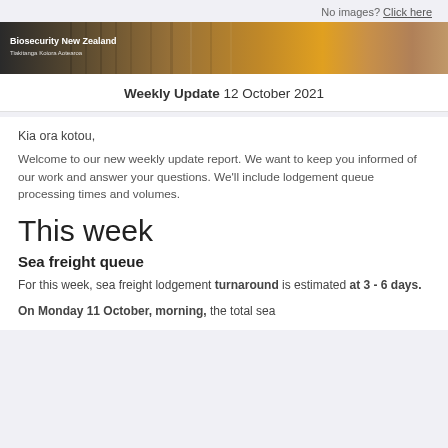No images? Click here
[Figure (photo): Biosecurity New Zealand banner header with shipping containers in orange/brown tones]
Weekly Update 12 October 2021
Kia ora kotou,
Welcome to our new weekly update report. We want to keep you informed of our work and answer your questions. We'll include lodgement queue processing times and volumes.
This week
Sea freight queue
For this week, sea freight lodgement turnaround is estimated at 3 - 6 days.
On Monday 11 October, morning, the total sea